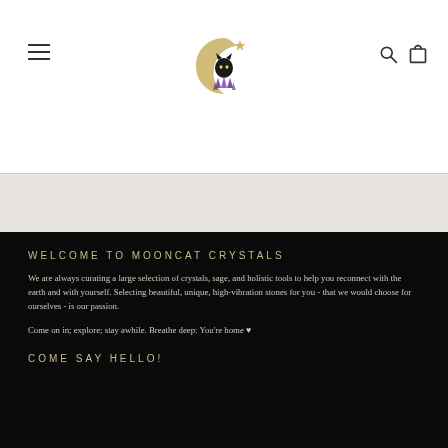Navigation header with hamburger menu, MoonCat Crystals logo, search icon, and cart icon
[Figure (logo): MoonCat Crystals logo: crescent moon with a black cat silhouette and purple amethyst crystals, gold/silver tones]
WELCOME TO MOONCAT CRYSTALS
We are always curating a large selection of crystals, sage, and holistic tools to help you reconnect with the earth and with yourself. Selecting beautiful, unique, high-vibration stones for you - that we would choose for ourselves - is our passion.
Come on in; explore; stay awhile. Breathe deep: You're home ♥
COME SAY HELLO!